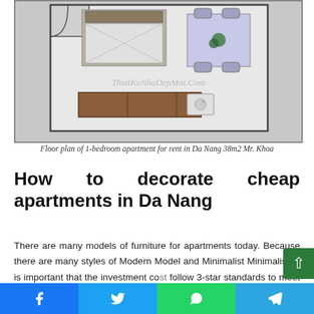[Figure (schematic): Floor plan layout of a 1-bedroom apartment showing bedroom with bed, living/dining area with table and chairs, kitchen with counter, and bathroom. Watermark text: ThietKeNhaDepMoi.Com]
Floor plan of 1-bedroom apartment for rent in Da Nang 38m2 Mr. Khoa
How to decorate cheap apartments in Da Nang
There are many models of furniture for apartments today. Because there are many styles of Modern Model and Minimalist Minimalist. It is important that the investment cost follow 3-star standards to meet living and relaxing activities